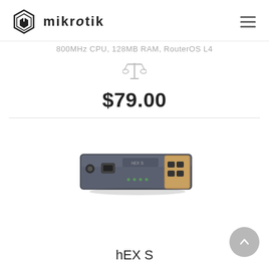mikrotik
800MHz CPU, 128MB RAM, RouterOS L4
[Figure (illustration): Compare/balance scale icon in gray]
$79.00
[Figure (photo): MikroTik hEX S router product photo showing front panel with Ethernet ports and SFP port]
hEX S